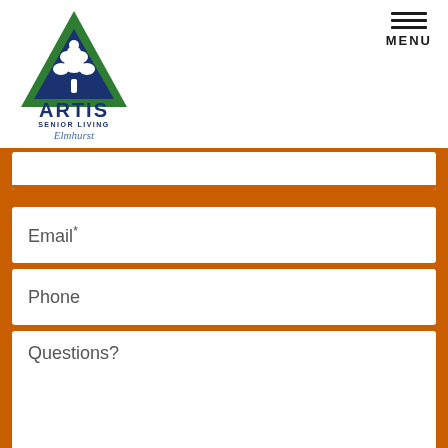[Figure (logo): Artis Senior Living Elmhurst logo — green triangle with white tree design above blue ARTIS text and SENIOR LIVING subtitle, with Elmhurst in blue italic below]
MENU
Email*
Phone
Questions?
I'd like to receive emails about events, offers